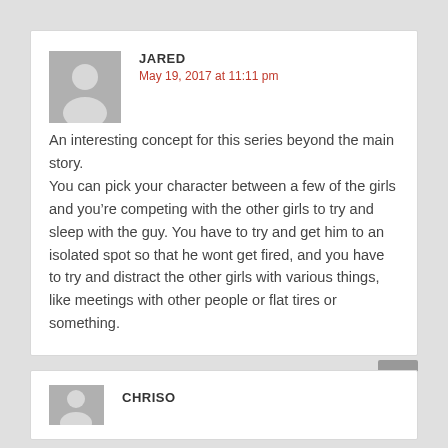JARED
May 19, 2017 at 11:11 pm
An interesting concept for this series beyond the main story.
You can pick your character between a few of the girls and you’re competing with the other girls to try and sleep with the guy. You have to try and get him to an isolated spot so that he wont get fired, and you have to try and distract the other girls with various things, like meetings with other people or flat tires or something.
CHRISO